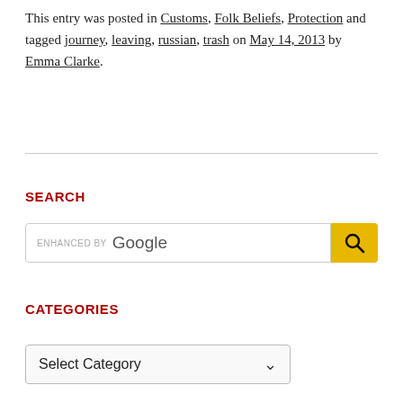This entry was posted in Customs, Folk Beliefs, Protection and tagged journey, leaving, russian, trash on May 14, 2013 by Emma Clarke.
SEARCH
[Figure (other): Search bar with 'enhanced by Google' placeholder text and a yellow search button with a magnifying glass icon]
CATEGORIES
[Figure (other): Dropdown select box showing 'Select Category' with a down arrow]